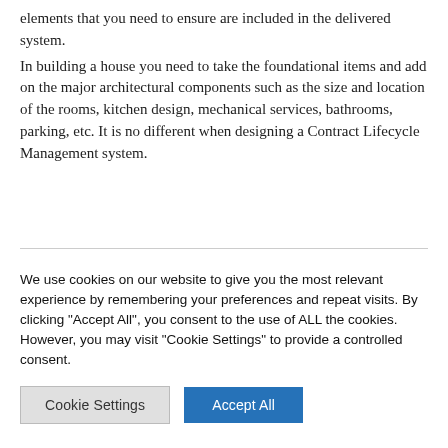elements that you need to ensure are included in the delivered system.
In building a house you need to take the foundational items and add on the major architectural components such as the size and location of the rooms, kitchen design, mechanical services, bathrooms, parking, etc. It is no different when designing a Contract Lifecycle Management system.
We use cookies on our website to give you the most relevant experience by remembering your preferences and repeat visits. By clicking "Accept All", you consent to the use of ALL the cookies. However, you may visit "Cookie Settings" to provide a controlled consent.